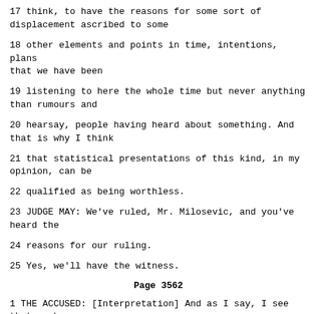17 think, to have the reasons for some sort of displacement ascribed to some
18 other elements and points in time, intentions, plans that we have been
19 listening to here the whole time but never anything than rumours and
20 hearsay, people having heard about something. And that is why I think
21 that statistical presentations of this kind, in my opinion, can be
22 qualified as being worthless.
23 JUDGE MAY: We've ruled, Mr. Milosevic, and you've heard the
24 reasons for our ruling.
25 Yes, we'll have the witness.
Page 3562
1 THE ACCUSED: [Interpretation] And as I say, I see that we have a
2 little time. May I just say that my telephone isn't working again. I